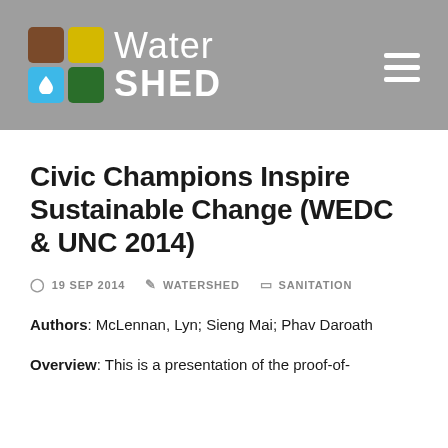[Figure (logo): WaterSHED logo with colored squares (brown, yellow, blue with water drop, green) and the text 'Water SHED' in white on a grey background, with a hamburger menu icon on the right]
Civic Champions Inspire Sustainable Change (WEDC & UNC 2014)
19 SEP 2014   WATERSHED   SANITATION
Authors: McLennan, Lyn; Sieng Mai; Phav Daroath
Overview: This is a presentation of the proof-of-